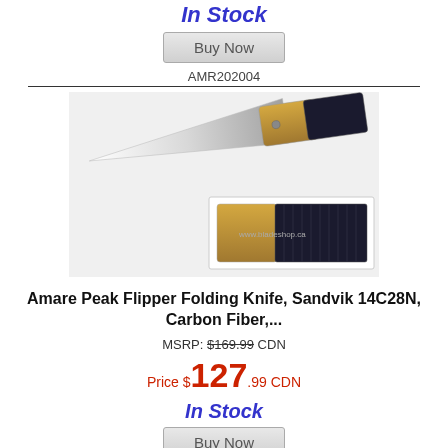In Stock
Buy Now
AMR202004
[Figure (photo): Amare Peak Flipper folding knife with Sandvik 14C28N blade and carbon fiber handle, shown from two angles — main view showing the open blade and a secondary view showing the closed handle.]
Amare Peak Flipper Folding Knife, Sandvik 14C28N, Carbon Fiber,...
MSRP: $169.99 CDN
Price $127.99 CDN
In Stock
Buy Now